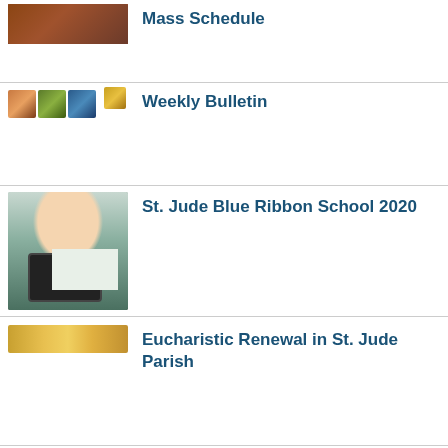[Figure (photo): Small thumbnail image placeholder for Mass Schedule]
Mass Schedule
[Figure (photo): Small thumbnail collage for Weekly Bulletin]
Weekly Bulletin
[Figure (photo): Photo of a smiling child holding a tablet, associated with St. Jude Blue Ribbon School 2020]
St. Jude Blue Ribbon School 2020
[Figure (photo): Gold/yellow banner image for Eucharistic Renewal]
Eucharistic Renewal in St. Jude Parish
Stewardship of Ministry Campaign